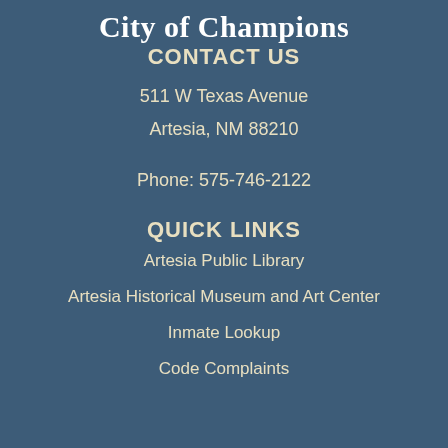City of Champions
CONTACT US
511 W Texas Avenue
Artesia, NM 88210
Phone: 575-746-2122
QUICK LINKS
Artesia Public Library
Artesia Historical Museum and Art Center
Inmate Lookup
Code Complaints